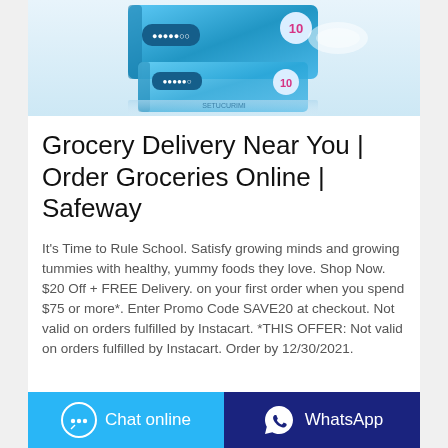[Figure (photo): Product photo of blue sanitary pad packaging (10 count) with reflection, on light background]
Grocery Delivery Near You | Order Groceries Online | Safeway
It's Time to Rule School. Satisfy growing minds and growing tummies with healthy, yummy foods they love. Shop Now. $20 Off + FREE Delivery. on your first order when you spend $75 or more*. Enter Promo Code SAVE20 at checkout. Not valid on orders fulfilled by Instacart. *THIS OFFER: Not valid on orders fulfilled by Instacart. Order by 12/30/2021.
Chat online
WhatsApp